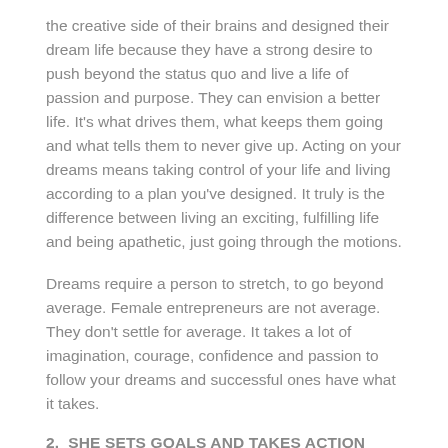the creative side of their brains and designed their dream life because they have a strong desire to push beyond the status quo and live a life of passion and purpose. They can envision a better life. It’s what drives them, what keeps them going and what tells them to never give up. Acting on your dreams means taking control of your life and living according to a plan you’ve designed. It truly is the difference between living an exciting, fulfilling life and being apathetic, just going through the motions.
Dreams require a person to stretch, to go beyond average. Female entrepreneurs are not average. They don’t settle for average. It takes a lot of imagination, courage, confidence and passion to follow your dreams and successful ones have what it takes.
2.  SHE SETS GOALS AND TAKES ACTION
Goal setting is a powerful process for creating a path and motivating yourself to turn your dreams and your vision